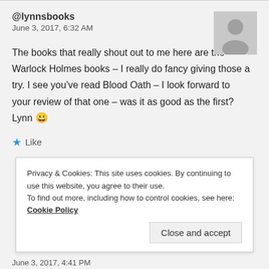@lynnsbooks
June 3, 2017, 6:32 AM
The books that really shout out to me here are the Warlock Holmes books – I really do fancy giving those a try. I see you've read Blood Oath – I look forward to your review of that one – was it as good as the first?
Lynn 😀
★ Like
Privacy & Cookies: This site uses cookies. By continuing to use this website, you agree to their use.
To find out more, including how to control cookies, see here: Cookie Policy
Close and accept
June 3, 2017, 4:41 PM